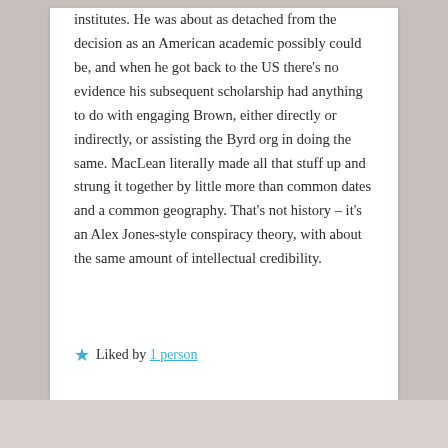institutes. He was about as detached from the decision as an American academic possibly could be, and when he got back to the US there's no evidence his subsequent scholarship had anything to do with engaging Brown, either directly or indirectly, or assisting the Byrd org in doing the same. MacLean literally made all that stuff up and strung it together by little more than common dates and a common geography. That's not history – it's an Alex Jones-style conspiracy theory, with about the same amount of intellectual credibility.
Liked by 1 person